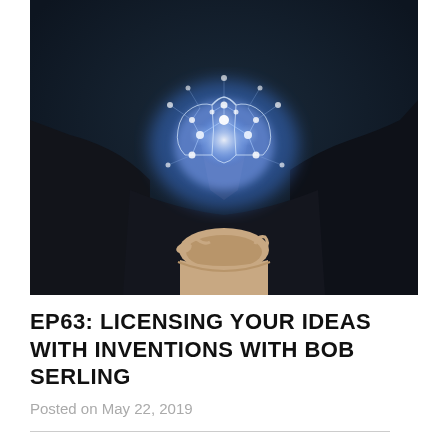[Figure (photo): A person in a dark suit holding a glowing digital brain illustration in their outstretched hand, against a dark blue background. The brain is depicted as a network of glowing white lines and nodes.]
EP63: LICENSING YOUR IDEAS WITH INVENTIONS WITH BOB SERLING
Posted on May 22, 2019